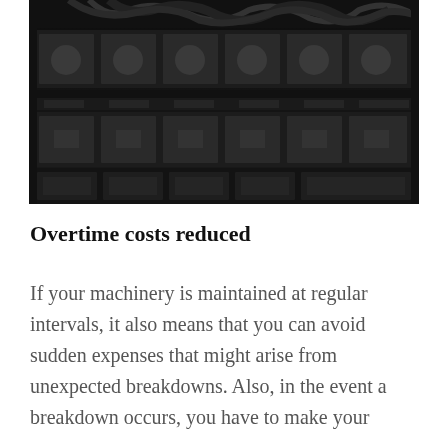[Figure (photo): Black and white photograph of server rack equipment with multiple drive bays, cables, and mesh ventilation panels visible from the front.]
Overtime costs reduced
If your machinery is maintained at regular intervals, it also means that you can avoid sudden expenses that might arise from unexpected breakdowns. Also, in the event a breakdown occurs, you have to make your